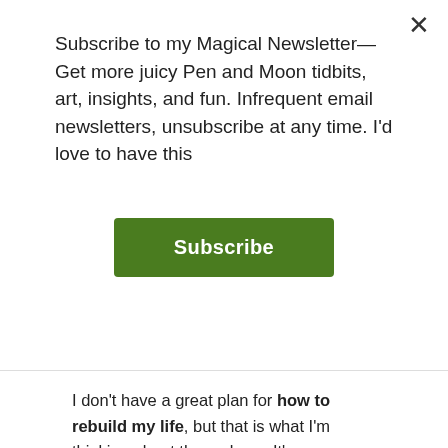Subscribe to my Magical Newsletter— Get more juicy Pen and Moon tidbits, art, insights, and fun. Infrequent email newsletters, unsubscribe at any time. I'd love to have this
Subscribe
I don't have a great plan for how to rebuild my life, but that is what I'm thinking about these days.  It's an exciting and intimidating place to be, but I think all the changes and hard work I've done this year have landed me in a good place to start from.
I'm so grateful for the flood of support and love that I've experienced coming my way over the last year. Not only do I have a renewed relationship with Bob, but I've had an abundance of deeper and more intimate connections with my community. That I…